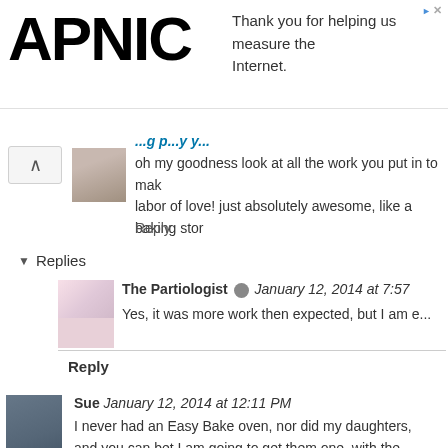[Figure (screenshot): APNIC logo partial with ad banner: 'Thank you for helping us measure the Internet.']
oh my goodness look at all the work you put in to mak... labor of love! just absolutely awesome, like a baking stor...
Reply
Replies
The Partiologist  January 12, 2014 at 7:57
Yes, it was more work then expected, but I am e...
Reply
Sue  January 12, 2014 at 12:11 PM
I never had an Easy Bake oven, nor did my daughters, and you can bet I am going to get them one, with the... THANKS!
Reply